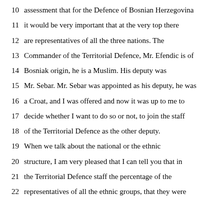10 assessment that for the Defence of Bosnian Herzegovina
11 it would be very important that at the very top there
12 are representatives of all the three nations. The
13 Commander of the Territorial Defence, Mr. Efendic is of
14 Bosniak origin, he is a Muslim. His deputy was
15 Mr. Sebar. Mr. Sebar was appointed as his deputy, he was
16 a Croat, and I was offered and now it was up to me to
17 decide whether I want to do so or not, to join the staff
18 of the Territorial Defence as the other deputy.
19 When we talk about the national or the ethnic
20 structure, I am very pleased that I can tell you that in
21 the Territorial Defence staff the percentage of the
22 representatives of all the ethnic groups, that they were